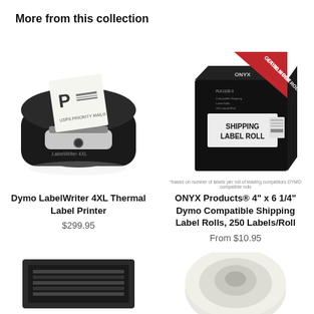More from this collection
[Figure (photo): Dymo LabelWriter 4XL Thermal Label Printer - black printer with USPS Priority Mail label coming out]
Dymo LabelWriter 4XL Thermal Label Printer
$299.95
[Figure (photo): ONYX Products shipping label rolls box with red banner reading GET 30 MORE LABELS PER ROLL*]
*based on number of labels per roll of leading competitors DYMO compatible rolls
ONYX Products® 4" x 6 1/4" Dymo Compatible Shipping Label Rolls, 250 Labels/Roll
From $10.95
[Figure (photo): Dark product image partially visible at bottom left]
[Figure (photo): White label roll partially visible at bottom right]